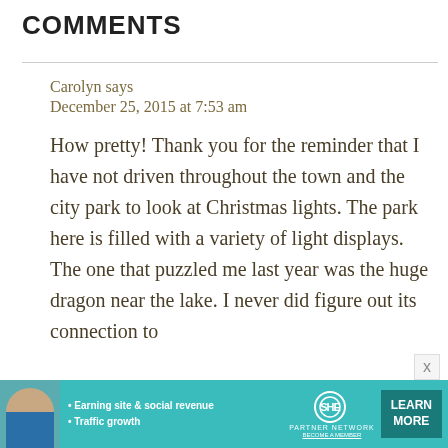COMMENTS
Carolyn says
December 25, 2015 at 7:53 am
How pretty! Thank you for the reminder that I have not driven throughout the town and the city park to look at Christmas lights. The park here is filled with a variety of light displays. The one that puzzled me last year was the huge dragon near the lake. I never did figure out its connection to
[Figure (screenshot): Advertisement banner for SHE Media Partner Network. Shows a woman's photo, bullet points 'Earning site & social revenue' and 'Traffic growth', SHE logo in a circle, text 'PARTNER NETWORK' and 'BECOME A MEMBER', and a 'LEARN MORE' button.]